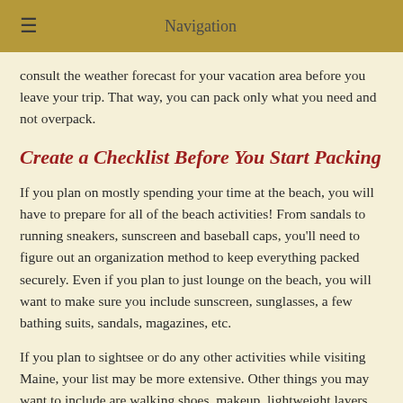Navigation
consult the weather forecast for your vacation area before you leave your trip. That way, you can pack only what you need and not overpack.
Create a Checklist Before You Start Packing
If you plan on mostly spending your time at the beach, you will have to prepare for all of the beach activities! From sandals to running sneakers, sunscreen and baseball caps, you’ll need to figure out an organization method to keep everything packed securely. Even if you plan to just lounge on the beach, you will want to make sure you include sunscreen, sunglasses, a few bathing suits, sandals, magazines, etc.
If you plan to sightsee or do any other activities while visiting Maine, your list may be more extensive. Other things you may want to include are walking shoes, makeup, lightweight layers, along with extra toiletry items.
Packing Personal Items and Travel Documents